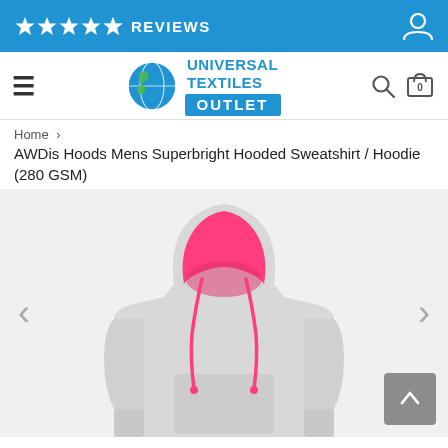★★★★½ REVIEWS
[Figure (logo): Universal Textiles Outlet logo with globe icon]
Home › AWDis Hoods Mens Superbright Hooded Sweatshirt / Hoodie (280 GSM)
[Figure (photo): Grey marl hoodie with hot pink inner hood lining and drawstrings, displayed on a headless mannequin]